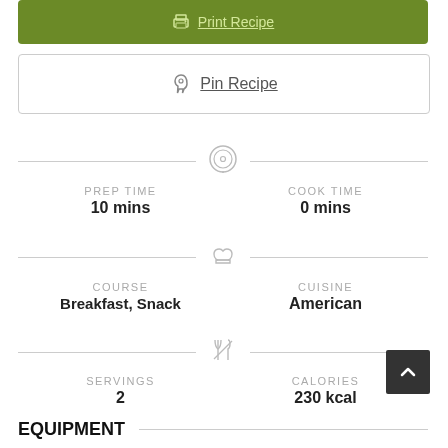[Figure (screenshot): Green Print Recipe button at top]
[Figure (screenshot): Pin Recipe button with Pinterest icon]
PREP TIME
10 mins
COOK TIME
0 mins
COURSE
Breakfast, Snack
CUISINE
American
SERVINGS
2
CALORIES
230 kcal
EQUIPMENT